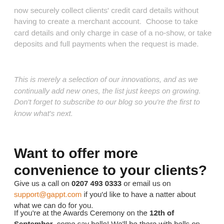now securely collect clients' credit card details without having to create a merchant account.  Choose to take card details and only charge in case of a no-show, or take deposits and full payments when the request is made.
This is merely a selection of our innovations, and as we continually add new ones, the list just keeps on growing.  Don't forget to subscribe to our blog so you're the first to know what's next.
Want to offer more convenience to your clients?
Give us a call on 0207 493 0333 or email us on support@gappt.com if you'd like to have a natter about what we can do for you.
If you're at the Awards Ceremony on the 12th of September, come say hello! We'll be there with bells on.